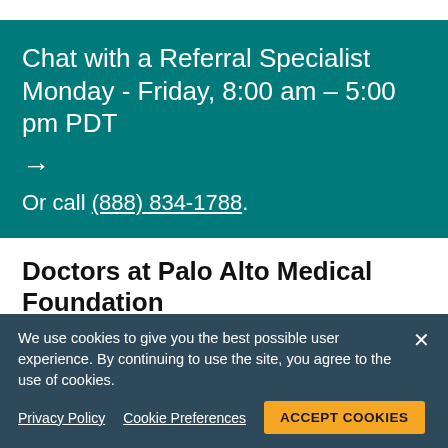Chat with a Referral Specialist Monday - Friday, 8:00 am – 5:00 pm PDT →
Or call (888) 834-1788.
Doctors at Palo Alto Medical Foundation
The following doctors are part of the Sutter Health network. Learn about the doctors on this site.
We use cookies to give you the best possible user experience. By continuing to use the site, you agree to the use of cookies.
Privacy Policy   Cookie Preferences   ACCEPT COOKIES